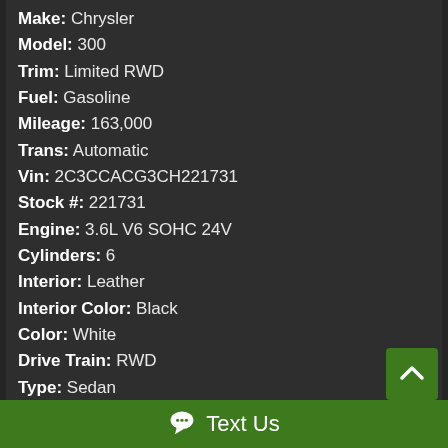Make: Chrysler
Model: 300
Trim: Limited RWD
Fuel: Gasoline
Mileage: 163,000
Trans: Automatic
Vin: 2C3CCACG3CH221731
Stock #: 221731
Engine: 3.6L V6 SOHC 24V
Cylinders: 6
Interior: Leather
Interior Color: Black
Color: White
Drive Train: RWD
Type: Sedan
Text Us